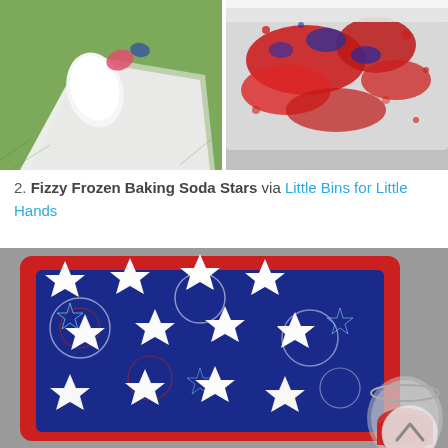[Figure (photo): Left: white cloth/fabric on green grass with a pink/red shape on top. Right: red and blue paint splattered on white cloth/fabric outdoors.]
2. Fizzy Frozen Baking Soda Stars via Little Bins for Little Hands
[Figure (photo): A red tray with a patriotic blue star/fireworks print liner, holding multiple white star-shaped baking soda frozen shapes. A glass with red liquid is visible at the bottom right.]